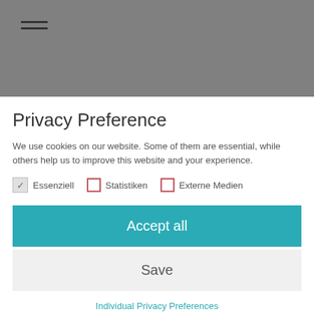[Figure (screenshot): Gray header banner with hamburger menu icon (three horizontal lines)]
Privacy Preference
We use cookies on our website. Some of them are essential, while others help us to improve this website and your experience.
Essenziell [checked] | Statistiken [unchecked] | Externe Medien [unchecked]
Accept all
Save
Individual Privacy Preferences
Cookie Details | Privacy Policy | Imprint